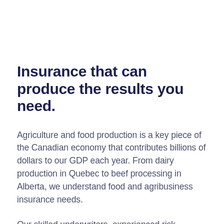Insurance that can produce the results you need.
Agriculture and food production is a key piece of the Canadian economy that contributes billions of dollars to our GDP each year. From dairy production in Quebec to beef processing in Alberta, we understand food and agribusiness insurance needs.
Our skilled underwriters, experienced risk engineers and first-class claims team will ensure you're able to